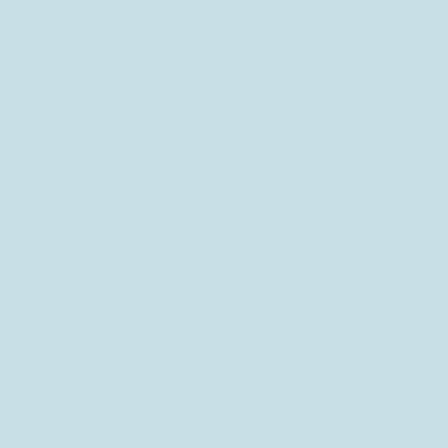Deferred Action & Work Card for Over... Illegal Entrees (entered as child under...)
Provision Waivers inside the U... Overstays and Illegal Entrees to re-e... visa from Embassy or Consulate
Miscellaneous Filings
Renew or Replace Green Card
Remove Green Card Conditions (... from 2 year to 10 year Card)
Naturalization to U.S. Citizen or Proo... Citizenship
Temporary Protected Status Extension...
Inside the U.S.: Green Card Thru Fa...
Qualified Relative of U.S. Citizen o... Card Holder